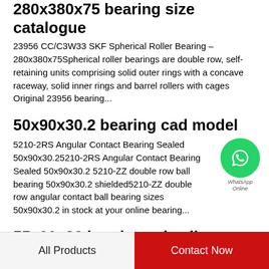280x380x75 bearing size catalogue
23956 CC/C3W33 SKF Spherical Roller Bearing – 280x380x75Spherical roller bearings are double row, self-retaining units comprising solid outer rings with a concave raceway, solid inner rings and barrel rollers with cages Original 23956 bearing...
50x90x30.2 bearing cad model
[Figure (logo): WhatsApp contact button - green circle with phone icon, text 'WhatsApp Online']
5210-2RS Angular Contact Bearing Sealed 50x90x30.25210-2RS Angular Contact Bearing Sealed 50x90x30.2 5210-ZZ double row ball bearing 50x90x30.2 shielded5210-ZZ double row angular contact ball bearing sizes 50x90x30.2 in stock at your online bearing...
55x90x36 bearing price list
All Products    Contact Now